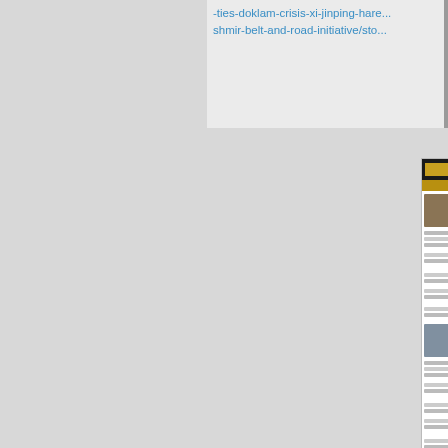-ties-doklam-crisis-xi-jinping-hare... shmir-belt-and-road-initiative/sto...
[Figure (screenshot): Thumbnail screenshot of a news website with dark header, article images, and text columns]
Reply
Sonam Wangchuk
June 29, 2019
The Central Tibetan Administration may be delight... His Holiness the Dalai Lama was the main subject o...